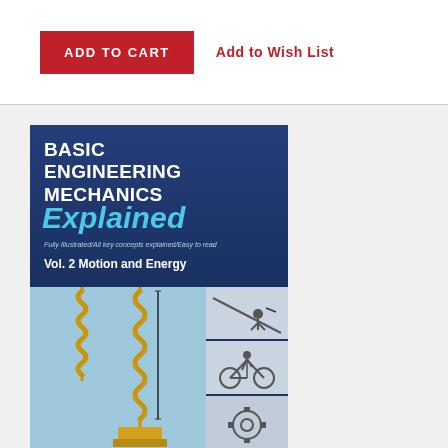ADD TO CART
Add to Wish List
[Figure (illustration): Book cover: Basic Engineering Mechanics Explained, Vol. 2 Motion and Energy. Dark blue cover with title in white bold uppercase, 'Explained' in large cyan italic, subtitle 'Fully Illustrated/All key concepts explained/Easy to read', and volume label. Lower portion shows illustrations of springs with a hanging weight and small panels with figures of a person on a zipline, a person on a bicycle, and a gear mechanism.]